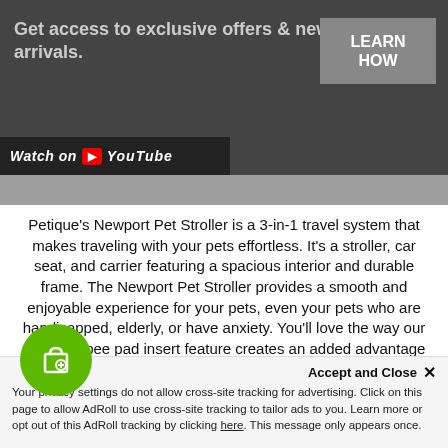Get access to exclusive offers & new arrivals.
LEARN HOW
Watch on YouTube
Petique's Newport Pet Stroller is a 3-in-1 travel system that makes traveling with your pets effortless. It's a stroller, car seat, and carrier featuring a spacious interior and durable frame. The Newport Pet Stroller provides a smooth and enjoyable experience for your pets, even your pets who are handicapped, elderly, or have anxiety. You'll love the way our patented pee pad insert feature creates an added advantage to help with messes and make cleaning up a lot easier. You can count on the Newport Pet Stroller to deliver a comfortable grip for instant control and a large
Accept and Close ✕
Your privacy settings do not allow cross-site tracking for advertising. Click on this page to allow AdRoll to use cross-site tracking to tailor ads to you. Learn more or opt out of this AdRoll tracking by clicking here. This message only appears once.